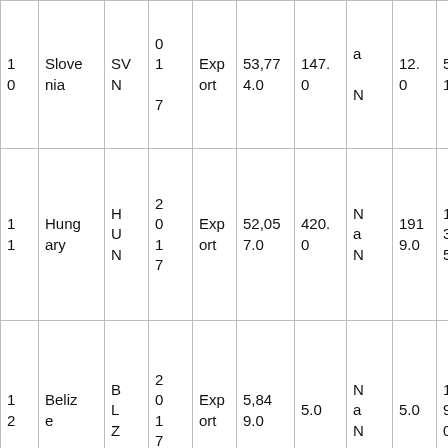| 1
0 | Slovenia | SV
N | 0
1
7 | Export | 53,774.0 | 147.0 | a
N | 12.0 | 5.81 |
| 1
1 | Hungary | H
U
N | 2
0
1
7 | Export | 52,057.0 | 420.0 | N
a
N | 1919.0 | 123.95 |
| 1
2 | Belize | B
L
Z | 2
0
1
7 | Export | 5,849.0 | 5.0 | N
a
N | 5.0 | 1169.80 |
|  |  |  | 2 |  |  |  |  |  |  |